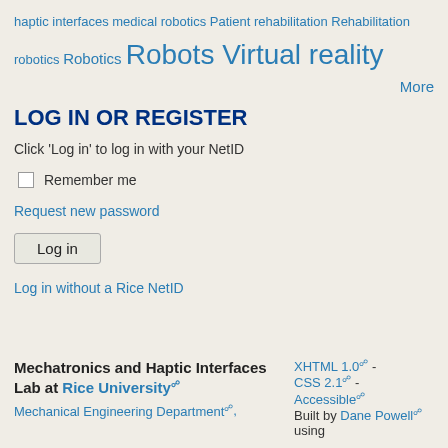haptic interfaces medical robotics Patient rehabilitation Rehabilitation robotics Robotics Robots Virtual reality
More
LOG IN OR REGISTER
Click 'Log in' to log in with your NetID
Remember me
Request new password
Log in
Log in without a Rice NetID
Mechatronics and Haptic Interfaces Lab at Rice University
Mechanical Engineering Department,
XHTML 1.0 - CSS 2.1 - Accessible Built by Dane Powell using